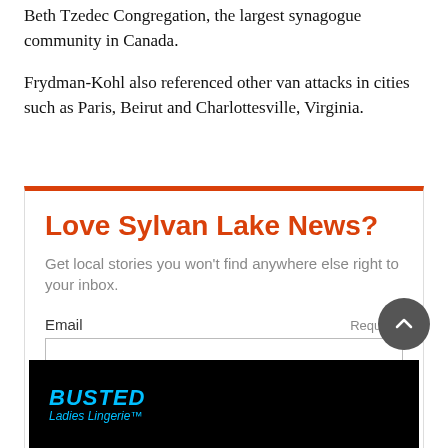Beth Tzedec Congregation, the largest synagogue community in Canada.
Frydman-Kohl also referenced other van attacks in cities such as Paris, Beirut and Charlottesville, Virginia.
Love Sylvan Lake News?
Get local stories you won't find anywhere else right to your inbox.
Email  Required
[Figure (other): Email input field for newsletter signup]
[Figure (other): Submit/signup button in orange]
[Figure (other): Scroll-to-top circular button]
[Figure (other): Busted Ladies Lingerie advertisement banner, black background with blue italic text]